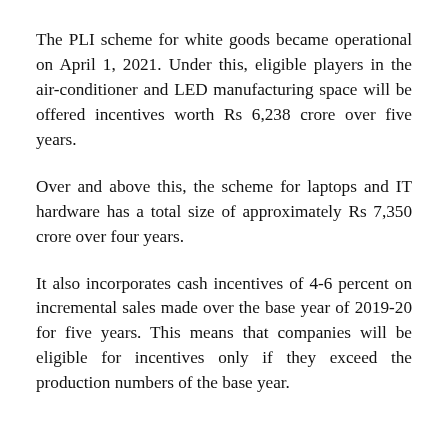The PLI scheme for white goods became operational on April 1, 2021. Under this, eligible players in the air-conditioner and LED manufacturing space will be offered incentives worth Rs 6,238 crore over five years.
Over and above this, the scheme for laptops and IT hardware has a total size of approximately Rs 7,350 crore over four years.
It also incorporates cash incentives of 4-6 percent on incremental sales made over the base year of 2019-20 for five years. This means that companies will be eligible for incentives only if they exceed the production numbers of the base year.